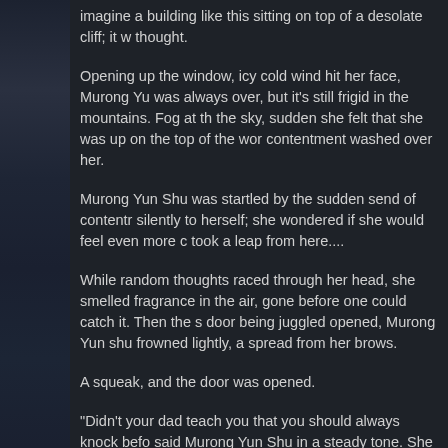imagine a building like this sitting on top of a desolate cliff; it w... thought.
Opening up the window, icy cold wind hit her face, Murong Yu... was always over, but it's still frigid in the mountains. Fog at th... the sky, sudden she felt that she was up on the top of the wor... contentment washed over her.
Murong Yun Shu was startled by the sudden send of contentr... silently to herself; she wondered if she would feel even more ... took a leap from here....
While random thoughts raced through her head, she smelled ... fragrance in the air, gone before one could catch it. Then the s... door being juggled opened, Murong Yun shu frowned lightly, a... spread from her brows.
A squeak, and the door was opened.
"Didn't your dad teach you that you should always knock befo... said Murong Yun Shu in a steady tone. She turned around slo... intruder with her bright eyes and a barely detectable smile...